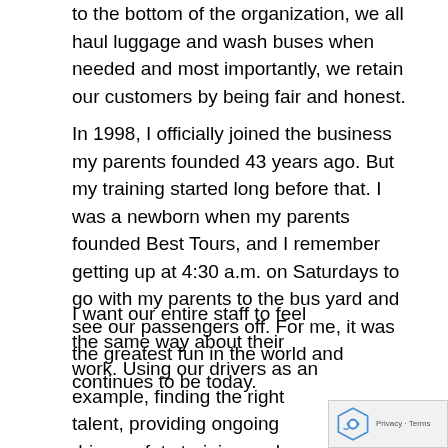to the bottom of the organization, we all haul luggage and wash buses when needed and most importantly, we retain our customers by being fair and honest.
In 1998, I officially joined the business my parents founded 43 years ago. But my training started long before that. I was a newborn when my parents founded Best Tours, and I remember getting up at 4:30 a.m. on Saturdays to go with my parents to the bus yard and see our passengers off. For me, it was the greatest fun in the world and continues to be today.
I want our entire staff to feel the same way about their work. Using our drivers as an example, finding the right talent, providing ongoing driver safety training and creating an enjoyable work environment leads to increased job satisfaction and high retention. Thes significant challenges in our industry given COVID- shut down and the need for competent and qualified